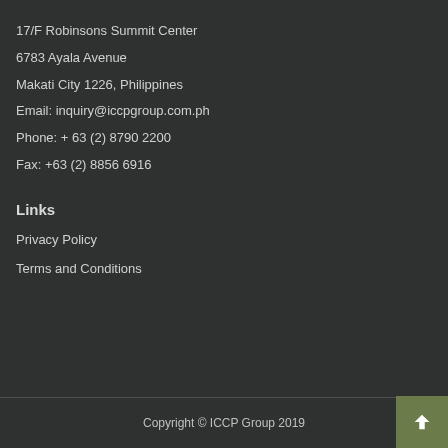17/F Robinsons Summit Center
6783 Ayala Avenue
Makati City 1226, Philippines
Email: inquiry@iccpgroup.com.ph
Phone: + 63 (2) 8790 2200
Fax: +63 (2) 8856 6916
Links
Privacy Policy
Terms and Conditions
Copyright © ICCP Group 2019